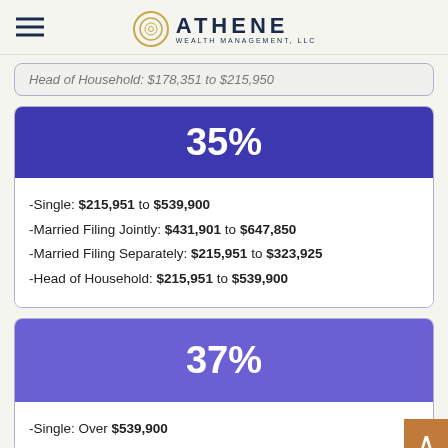Athene Wealth Management, LLC
Head of Household: $178,351 to $215,950
35%
-Single: $215,951 to $539,900
-Married Filing Jointly: $431,901 to $647,850
-Married Filing Separately: $215,951 to $323,925
-Head of Household: $215,951 to $539,900
37%
-Single: Over $539,900